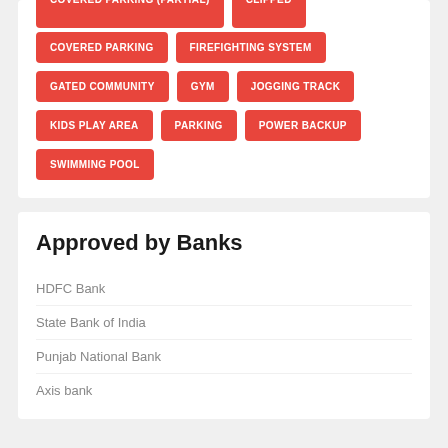COVERED PARKING
FIREFIGHTING SYSTEM
GATED COMMUNITY
GYM
JOGGING TRACK
KIDS PLAY AREA
PARKING
POWER BACKUP
SWIMMING POOL
Approved by Banks
HDFC Bank
State Bank of India
Punjab National Bank
Axis bank